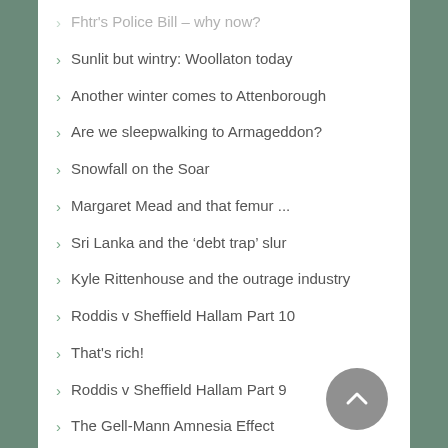Fhtr's Police Bill – why now?
Sunlit but wintry: Woollaton today
Another winter comes to Attenborough
Are we sleepwalking to Armageddon?
Snowfall on the Soar
Margaret Mead and that femur ...
Sri Lanka and the ‘debt trap’ slur
Kyle Rittenhouse and the outrage industry
Roddis v Sheffield Hallam Part 10
That's rich!
Roddis v Sheffield Hallam Part 9
The Gell-Mann Amnesia Effect
Another FB China debate
Julian's mother speaks